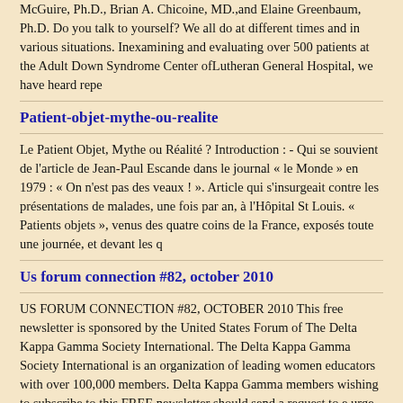McGuire, Ph.D., Brian A. Chicoine, MD.,and Elaine Greenbaum, Ph.D. Do you talk to yourself? We all do at different times and in various situations. Inexamining and evaluating over 500 patients at the Adult Down Syndrome Center ofLutheran General Hospital, we have heard repe
Patient-objet-mythe-ou-realite
Le Patient Objet, Mythe ou Réalité ? Introduction : - Qui se souvient de l'article de Jean-Paul Escande dans le journal « le Monde » en 1979 : « On n'est pas des veaux ! ». Article qui s'insurgeait contre les présentations de malades, une fois par an, à l'Hôpital St Louis. « Patients objets », venus des quatre coins de la France, exposés toute une journée, et devant les q
Us forum connection #82, october 2010
US FORUM CONNECTION #82, OCTOBER 2010 This free newsletter is sponsored by the United States Forum of The Delta Kappa Gamma Society International. The Delta Kappa Gamma Society International is an organization of leading women educators with over 100,000 members. Delta Kappa Gamma members wishing to subscribe to this FREE newsletter should send a request to e urge you to share this newsle
Microsoft powerpoint - wrongwayround_asms_2008
Positive Ion Electrospray LC/MS/MS Analysis of Strongly Basic Analytes with High pH Mobile Phases, "Wrong-Way-Round" Ionization Laura Nakovich, Linge Li, Moucun Yuan, James Creaser, William R. Mylott, Bruce Hidy, and Rand Jenkins a